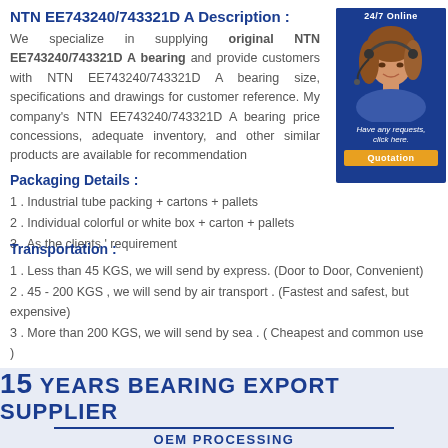NTN EE743240/743321D A Description :
We specialize in supplying original NTN EE743240/743321D A bearing and provide customers with NTN EE743240/743321D A bearing size, specifications and drawings for customer reference. My company's NTN EE743240/743321D A bearing price concessions, adequate inventory, and other similar products are available for recommendation
[Figure (photo): Customer service representative with headset, 24/7 Online badge, with 'Have any requests, click here.' text and Quotation button]
Packaging Details :
1 . Industrial tube packing + cartons + pallets
2 . Individual colorful or white box + carton + pallets
3 . As the clients ' requirement
Transportation :
1 . Less than 45 KGS, we will send by express. (Door to Door, Convenient)
2 . 45 - 200 KGS , we will send by air transport . (Fastest and safest, but expensive)
3 . More than 200 KGS, we will send by sea . ( Cheapest and common use )
[Figure (infographic): Banner: 15 YEARS BEARING EXPORT SUPPLIER with OEM PROCESSING subtitle on light blue background]